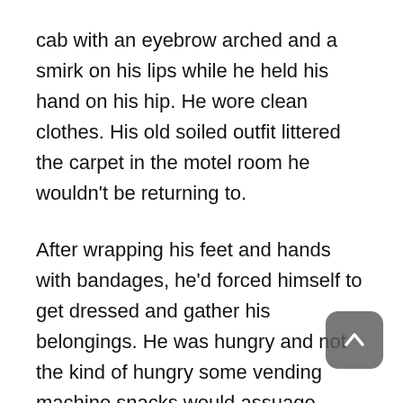cab with an eyebrow arched and a smirk on his lips while he held his hand on his hip. He wore clean clothes. His old soiled outfit littered the carpet in the motel room he wouldn't be returning to.
After wrapping his feet and hands with bandages, he'd forced himself to get dressed and gather his belongings. He was hungry and not the kind of hungry some vending machine snacks would assuage.
First, truck. The way the truck had been picked over, Jackson wouldn't be surprised if those men had been real from his hallucinations. They probably had looked through all of the room keys at the front desk